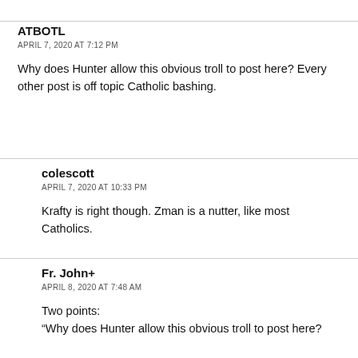ATBOTL
APRIL 7, 2020 AT 7:12 PM
Why does Hunter allow this obvious troll to post here? Every other post is off topic Catholic bashing.
colescott
APRIL 7, 2020 AT 10:33 PM
Krafty is right though. Zman is a nutter, like most Catholics.
Fr. John+
APRIL 8, 2020 AT 7:48 AM
Two points:
“Why does Hunter allow this obvious troll to post here?